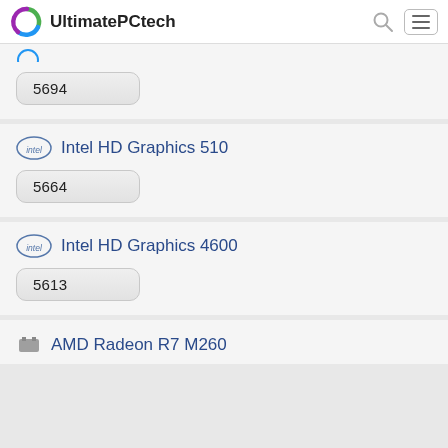UltimatePCtech
5694
Intel HD Graphics 510
5664
Intel HD Graphics 4600
5613
AMD Radeon R7 M260